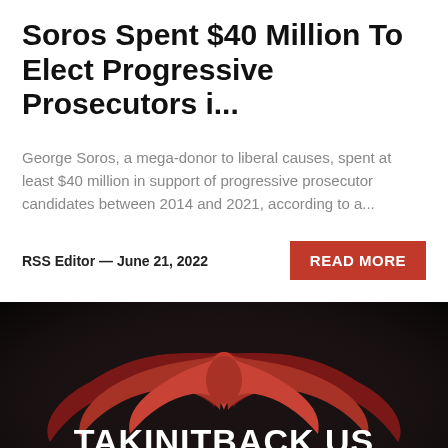Soros Spent $40 Million To Elect Progressive Prosecutors i...
George Soros, a mega-donor to liberal causes, spent at least $40 million in support of progressive prosecutor candidates between 2014 and 2021, according to a...
RSS Editor — June 21, 2022
READ MORE
[Figure (illustration): Dark banner image with a red phoenix/eagle wings logo, site name TAKINITBACK.US in large white bold text, and tagline 'America Awakens Here' below it. A red circular chat button is in the bottom right corner.]